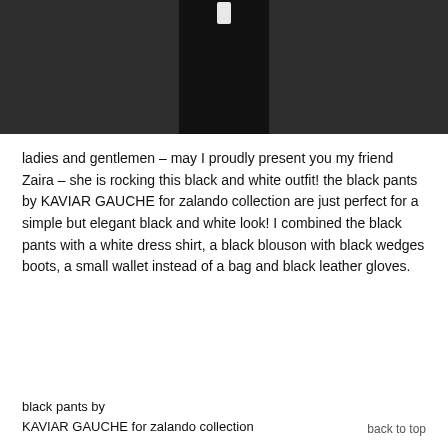[Figure (photo): A person wearing a black and white outfit — black pants, black blouson jacket, white dress shirt, standing against a dark grey background. Only the lower body and torso are visible.]
ladies and gentlemen – may I proudly present you my friend Zaira – she is rocking this black and white outfit! the black pants by KAVIAR GAUCHE for zalando collection are just perfect for a simple but elegant black and white look! I combined the black pants with a white dress shirt, a black blouson with black wedges boots, a small wallet instead of a bag and black leather gloves.
black pants by KAVIAR GAUCHE for zalando collection
back to top